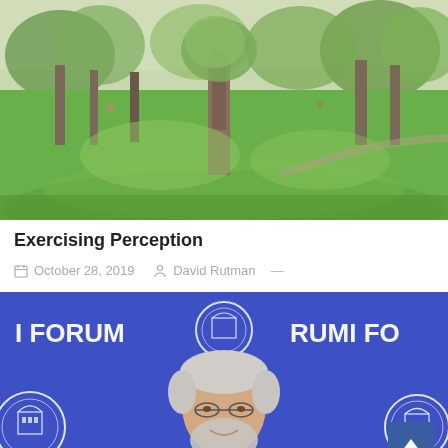[Figure (photo): Outdoor park scene with large trees, green grass lawn, sunlight filtering through tree canopy]
Exercising Perception
October 28, 2019  David Rutman —
[Figure (photo): Man with white hair and beard standing in front of RUMI FORUM banner/backdrop with circular logos]